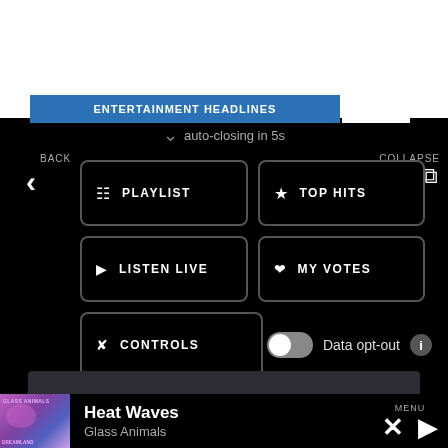[Figure (screenshot): Top white browser area showing partial entertainment headlines banner with blue background and text 'ENTERTAINMENT HEADLINES']
auto-closing in 5s
BACK
COLLAPSE
PLAYLIST
TOP HITS
LISTEN LIVE
MY VOTES
CONTROLS
Data opt-out
Heat Waves
Glass Animals
MENU